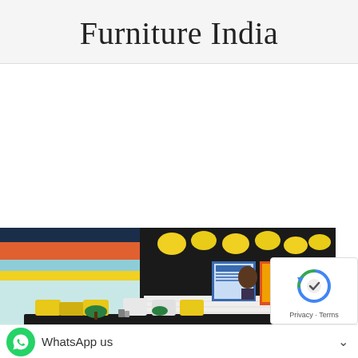Furniture India
[Figure (photo): A colorful restaurant or cafe interior with a long black dining table, multicolored chairs including green, yellow and white, green striped walls with orange and red horizontal bands, yellow round pendant lights hanging from the ceiling, and plants along the table. A bar counter with white brick tiles is visible in the background.]
WhatsApp us